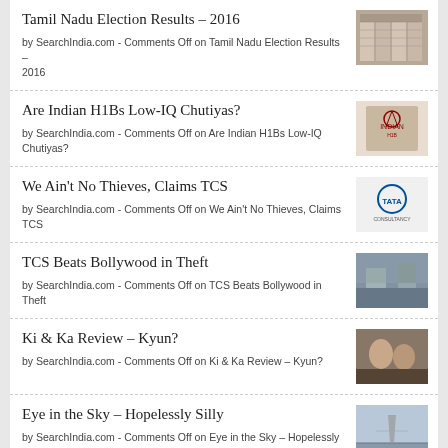Tamil Nadu Election Results – 2016
by SearchIndia.com - Comments Off on Tamil Nadu Election Results – 2016
Are Indian H1Bs Low-IQ Chutiyas?
by SearchIndia.com - Comments Off on Are Indian H1Bs Low-IQ Chutiyas?
We Ain't No Thieves, Claims TCS
by SearchIndia.com - Comments Off on We Ain't No Thieves, Claims TCS
TCS Beats Bollywood in Theft
by SearchIndia.com - Comments Off on TCS Beats Bollywood in Theft
Ki & Ka Review – Kyun?
by SearchIndia.com - Comments Off on Ki & Ka Review – Kyun?
Eye in the Sky – Hopelessly Silly
by SearchIndia.com - Comments Off on Eye in the Sky – Hopelessly Silly
The Hateful Eight Review – Starts Slow, Ends Very